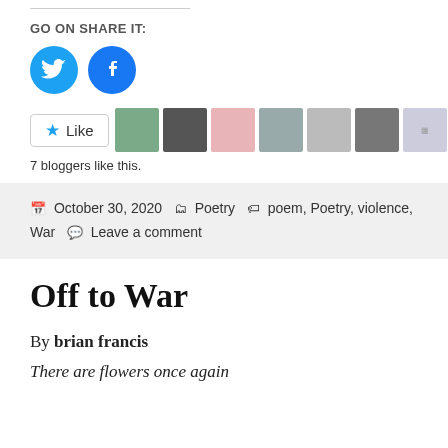GO ON SHARE IT:
[Figure (illustration): Twitter and Facebook social share circular icon buttons]
[Figure (other): Like button with star icon followed by 7 blogger avatar thumbnails]
7 bloggers like this.
October 30, 2020  Poetry  poem, Poetry, violence, War  Leave a comment
Off to War
By brian francis
There are flowers once again